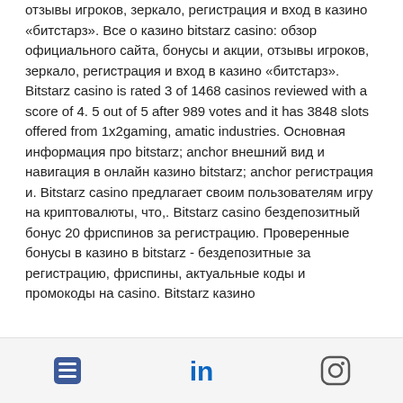отзывы игроков, зеркало, регистрация и вход в казино «битстарз». Все о казино bitstarz casino: обзор официального сайта, бонусы и акции, отзывы игроков, зеркало, регистрация и вход в казино «битстарз». Bitstarz casino is rated 3 of 1468 casinos reviewed with a score of 4. 5 out of 5 after 989 votes and it has 3848 slots offered from 1x2gaming, amatic industries. Основная информация про bitstarz; anchor внешний вид и навигация в онлайн казино bitstarz; anchor регистрация и. Bitstarz casino предлагает своим пользователям игру на криптовалюты, что,. Bitstarz casino бездепозитный бонус 20 фриспинов за регистрацию. Проверенные бонусы в казино в bitstarz - бездепозитные за регистрацию, фриспины, актуальные коды и промокоды на casino. Bitstarz казино
[icons: grid, linkedin, instagram]